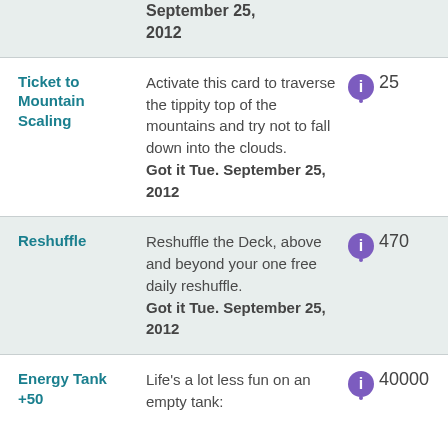September 25, 2012
Ticket to Mountain Scaling
Activate this card to traverse the tippity top of the mountains and try not to fall down into the clouds. Got it Tue. September 25, 2012
25
Reshuffle
Reshuffle the Deck, above and beyond your one free daily reshuffle. Got it Tue. September 25, 2012
470
Energy Tank +50
Life's a lot less fun on an empty tank:
40000